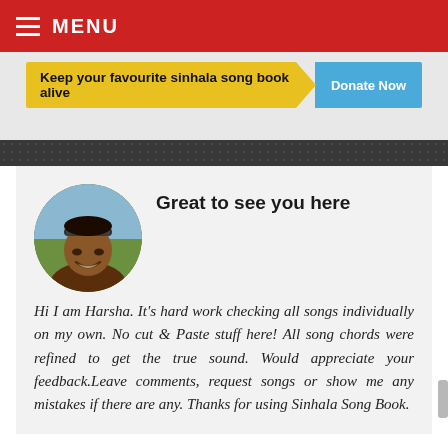MENU
[Figure (infographic): Yellow banner with text 'Keep your favourite sinhala song book alive' and a blue 'Donate Now' button]
Great to see you here
Hi I am Harsha. It's hard work checking all songs individually on my own. No cut & Paste stuff here! All song chords were refined to get the true sound. Would appreciate your feedback.Leave comments, request songs or show me any mistakes if there are any. Thanks for using Sinhala Song Book.
[Figure (photo): Circular profile photo of a man named Harsha wearing sunglasses on his head, smiling outdoors]